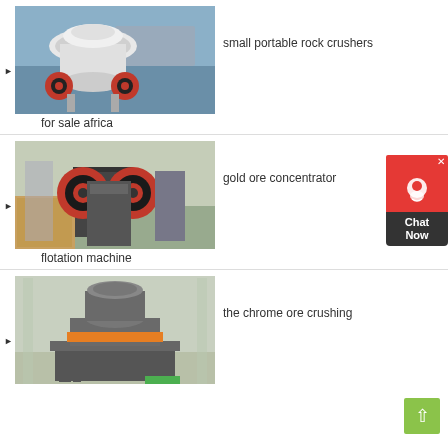small portable rock crushers for sale africa
[Figure (photo): Industrial cone crusher machine in a factory setting, white and red colored, photographed in a manufacturing facility]
gold ore concentrator flotation machine
[Figure (photo): Industrial jaw crusher machine with red and black flywheel discs in a factory warehouse]
the chrome ore crushing
[Figure (photo): Large grey industrial VSI sand making machine or crusher in a modern factory hall with orange accent ring]